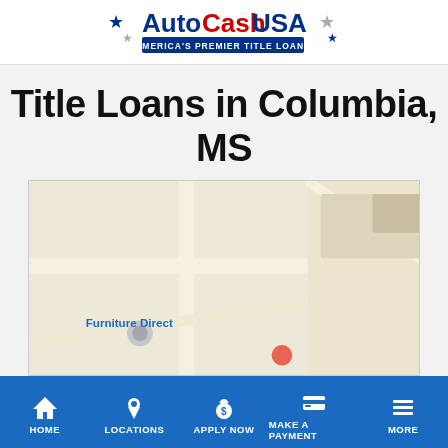[Figure (logo): AutoCashUSA logo with stars and tagline 'AMERICA'S PREMIER TITLE LOANS']
Title Loans in Columbia, MS
[Figure (map): Street map showing area near Furniture Direct in Columbia, MS]
HOME | LOCATIONS | APPLY NOW | MAKE A PAYMENT | MORE